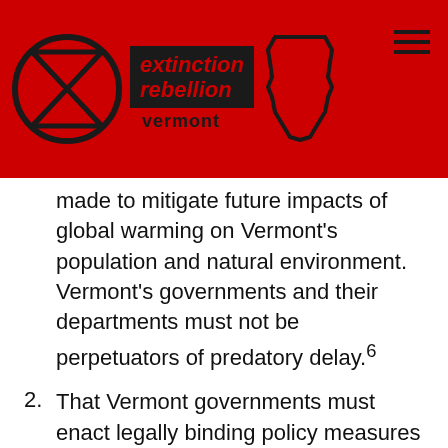[Figure (logo): Extinction Rebellion Vermont logo: hourglass-in-circle symbol, 'extinction rebellion' text in red on dark background, Vermont state shape outline, on red header bar]
made to mitigate future impacts of global warming on Vermont's population and natural environment. Vermont's governments and their departments must not be perpetuators of predatory delay.⁶
2. That Vermont governments must enact legally binding policy measures to reduce carbon emissions to net zero by 2025⁷ and to